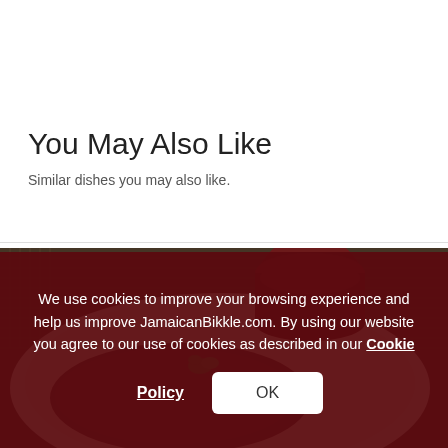You May Also Like
Similar dishes you may also like.
[Figure (photo): A plate of Jamaican food with meat and garnish, and a cup of red drink, on a wicker table surface.]
We use cookies to improve your browsing experience and help us improve JamaicanBikkle.com. By using our website you agree to our use of cookies as described in our Cookie Policy
OK